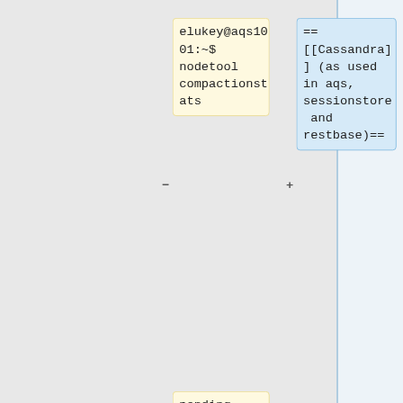elukey@aqs1001:~$ nodetool compactionstats
== [[Cassandra]] (as used in aqs, sessionstore and restbase)==
pending tasks: 0
elukey@aqs1001:~$ nodetool netstats
Mode: NORMAL
Not sending any streams.
Read Repair